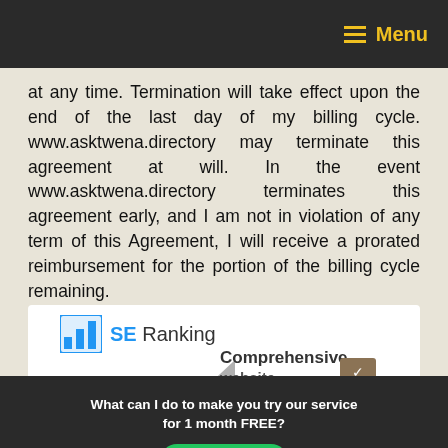Menu
at any time.  Termination will take effect upon the end of the last day of my billing cycle.  www.asktwena.directory may terminate this agreement at will.  In the event www.asktwena.directory terminates this agreement early, and I am not in violation of any term of this Agreement, I will receive a prorated reimbursement for the portion of the billing cycle remaining.
End Agreement.
[Figure (screenshot): SE Ranking advertisement with logo and 'Comprehensive website' text, overlaid by a dark popup asking 'What can I do to make you try our service for 1 month FREE?' with a green Reply button]